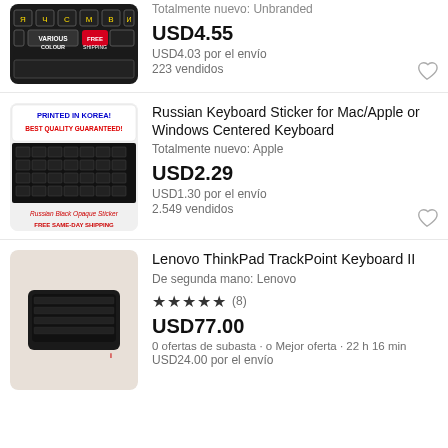[Figure (screenshot): eBay product listing page showing three keyboard-related products with images, prices, and shipping info in Spanish]
Totalmente nuevo: Unbranded
USD4.55
USD4.03 por el envío
223 vendidos
Russian Keyboard Sticker for Mac/Apple or Windows Centered Keyboard
Totalmente nuevo: Apple
USD2.29
USD1.30 por el envío
2.549 vendidos
Lenovo ThinkPad TrackPoint Keyboard II
De segunda mano: Lenovo
★★★★★ (8)
USD77.00
0 ofertas de subasta · o Mejor oferta · 22 h 16 min
USD24.00 por el envío